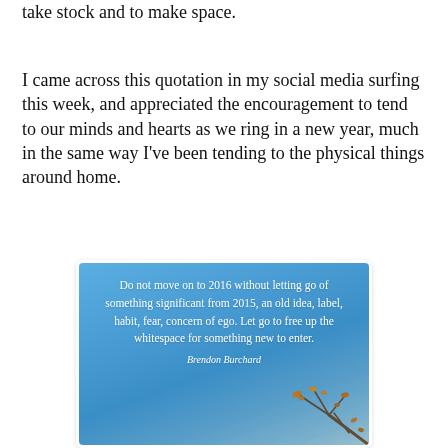take stock and to make space.
I came across this quotation in my social media surfing this week, and appreciated the encouragement to tend to our minds and hearts as we ring in a new year, much in the same way I've been tending to the physical things around home.
[Figure (illustration): A motivational quote image with a blue sky gradient background and autumn tree branch decoration in the lower right corner. The quote reads: 'Do not move on to 2016 without letting go of something significant from 2015, an old idea, label, habit, fear, concern of ego. Let go to free up the whitespace for something new to enter.' Attributed to Brendon Burchard.]